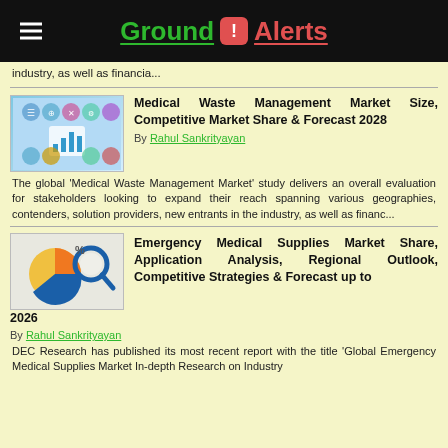Ground ! Alerts
industry, as well as financia...
[Figure (photo): Thumbnail image for Medical Waste Management Market article showing business icons and bar chart graphic]
Medical Waste Management Market Size, Competitive Market Share & Forecast 2028
By Rahul Sankrityayan
The global 'Medical Waste Management Market' study delivers an overall evaluation for stakeholders looking to expand their reach spanning various geographies, contenders, solution providers, new entrants in the industry, as well as financ...
[Figure (photo): Thumbnail image for Emergency Medical Supplies Market article showing pie chart and magnifying glass graphic]
Emergency Medical Supplies Market Share, Application Analysis, Regional Outlook, Competitive Strategies & Forecast up to 2026
By Rahul Sankrityayan
DEC Research has published its most recent report with the title 'Global Emergency Medical Supplies Market In-depth Research on Industry